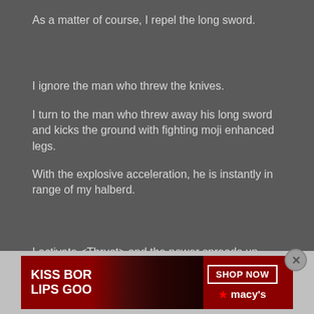As a matter of course, I repel the long sword.
I ignore the man who threw the knives.
I turn to the man who threw away his long sword and kicks the ground with fighting moji enhanced legs.
With the explosive acceleration, he is instantly in range of my halberd.
I activate <Thrust> and the power spreads up from my legs
[Figure (photo): Advertisement banner for Macy's lipstick: 'KISS BORING LIPS GOODBYE' with SHOP NOW button and Macy's star logo, showing woman's face with red lips]